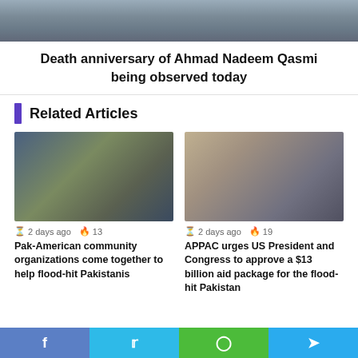[Figure (photo): Partial photo of an elderly man with glasses, cropped at top of page]
Death anniversary of Ahmad Nadeem Qasmi being observed today
Related Articles
[Figure (photo): Group of people gathered outdoors, one person in green jacket speaking at a podium]
2 days ago  13
Pak-American community organizations come together to help flood-hit Pakistanis
[Figure (photo): Portrait of a man in a suit with dark hair and mustache]
2 days ago  19
APPAC urges US President and Congress to approve a $13 billion aid package for the flood-hit Pakistan